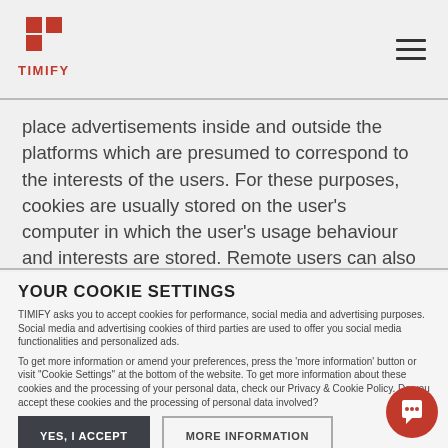TIMIFY
place advertisements inside and outside the platforms which are presumed to correspond to the interests of the users. For these purposes, cookies are usually stored on the user's computer in which the user's usage behaviour and interests are stored. Remote users can also store data in the user profiles
YOUR COOKIE SETTINGS
TIMIFY asks you to accept cookies for performance, social media and advertising purposes. Social media and advertising cookies of third parties are used to offer you social media functionalities and personalized ads.
To get more information or amend your preferences, press the 'more information' button or visit "Cookie Settings" at the bottom of the website. To get more information about these cookies and the processing of your personal data, check our Privacy & Cookie Policy. Do you accept these cookies and the processing of personal data involved?
YES, I ACCEPT
MORE INFORMATION